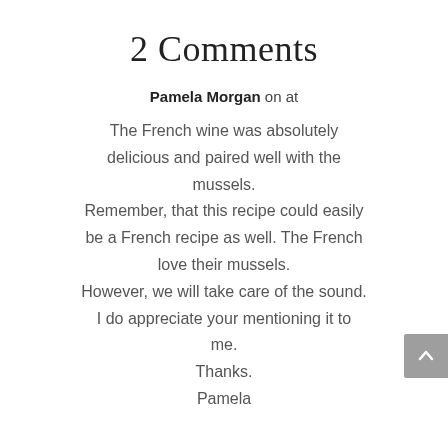2 Comments
Pamela Morgan on at
The French wine was absolutely delicious and paired well with the mussels.
Remember, that this recipe could easily be a French recipe as well. The French love their mussels.
However, we will take care of the sound. I do appreciate your mentioning it to me.
Thanks.
Pamela